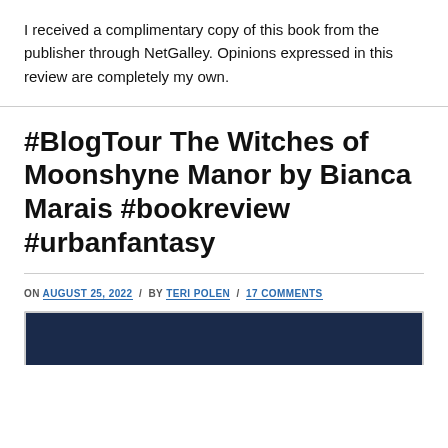I received a complimentary copy of this book from the publisher through NetGalley. Opinions expressed in this review are completely my own.
#BlogTour The Witches of Moonshyne Manor by Bianca Marais #bookreview #urbanfantasy
ON AUGUST 25, 2022 / BY TERI POLEN / 17 COMMENTS
[Figure (photo): Partial view of a dark blue book cover image at the bottom of the page]